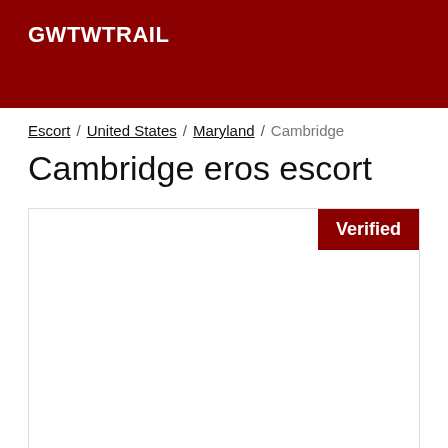GWTWTRAIL
Escort / United States / Maryland / Cambridge
Cambridge eros escort
[Figure (other): Listing card with a Verified badge in the top-right corner, white interior content area.]